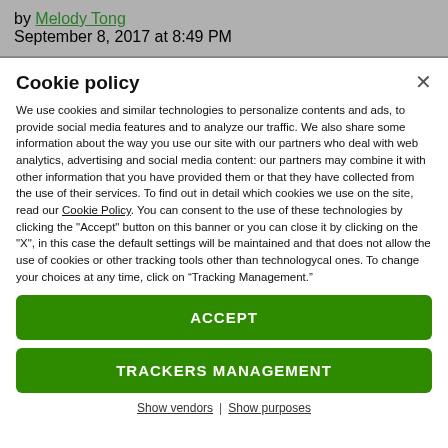by Melody Tong
September 8, 2017 at 8:49 PM
Cookie policy
We use cookies and similar technologies to personalize contents and ads, to provide social media features and to analyze our traffic. We also share some information about the way you use our site with our partners who deal with web analytics, advertising and social media content: our partners may combine it with other information that you have provided them or that they have collected from the use of their services. To find out in detail which cookies we use on the site, read our Cookie Policy. You can consent to the use of these technologies by clicking the "Accept" button on this banner or you can close it by clicking on the "X", in this case the default settings will be maintained and that does not allow the use of cookies or other tracking tools other than technologycal ones. To change your choices at any time, click on “Tracking Management.”
ACCEPT
TRACKERS MANAGEMENT
Show vendors | Show purposes